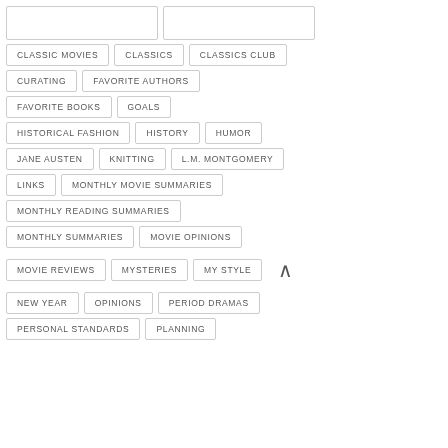CLASSIC MOVIES
CLASSICS
CLASSICS CLUB
CURATING
FAVORITE AUTHORS
FAVORITE BOOKS
GOALS
HISTORICAL FASHION
HISTORY
HUMOR
JANE AUSTEN
KNITTING
L.M. MONTGOMERY
LINKS
MONTHLY MOVIE SUMMARIES
MONTHLY READING SUMMARIES
MONTHLY SUMMARIES
MOVIE OPINIONS
MOVIE REVIEWS
MYSTERIES
MY STYLE
NEW YEAR
OPINIONS
PERIOD DRAMAS
PERSONAL STANDARDS
PLANNING